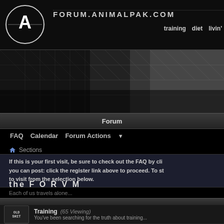FORUM.ANIMALPAK.COM
training   diet   livin'
[Figure (screenshot): Dark banner image showing a chain-link fence with dramatic lighting, black and white tone]
Forum
FAQ   Calendar   Forum Actions ▼
🏠 Sections
If this is your first visit, be sure to check out the FAQ by cli... you can post: click the register link above to proceed. To st... to visit from the selection below.
the F O R V M
Each of us travels alone...
Training (65 Viewing) You've been searching for the truth about training.... no further brothers. It's all right here. No bullshit, no... just the straight facts. So let's rock 'n roll. The plates... waiting.